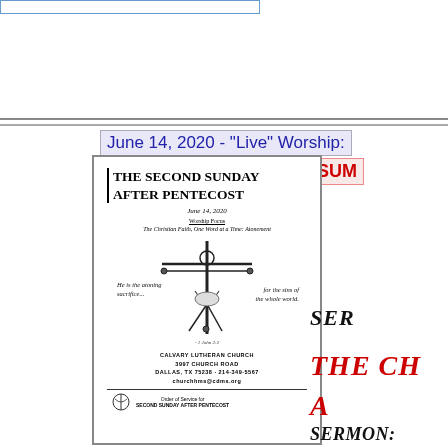June 14, 2020 - "Live" Worship:
SUM
[Figure (illustration): Church bulletin cover for The Second Sunday After Pentecost, June 14, 2020. Features a crucifixion image with italic text quotes. Calvary Lutheran Church, 3997 Church Road, Dallas, TX 75238 · 214-349-5567, churchhms@cdms.org. Order of Service for Second Sunday After Pentecost.]
SER
THE CH
A
SERMON: